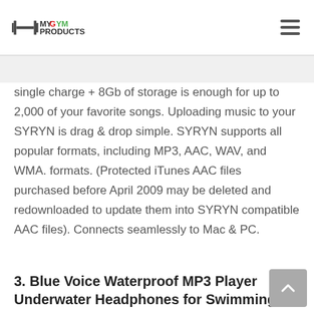MY GYM PRODUCTS
single charge + 8Gb of storage is enough for up to 2,000 of your favorite songs. Uploading music to your SYRYN is drag & drop simple. SYRYN supports all popular formats, including MP3, AAC, WAV, and WMA. formats. (Protected iTunes AAC files purchased before April 2009 may be deleted and redownloaded to update them into SYRYN compatible AAC files). Connects seamlessly to Mac & PC.
3. Blue Voice Waterproof MP3 Player Underwater Headphones for Swimming